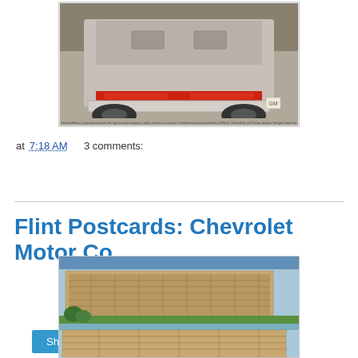[Figure (photo): Rear view of a 1970s Buick Riviera car advertisement showing the back of the vehicle with chrome bumper and taillights]
at 7:18 AM    3 comments:
Share
Flint Postcards: Chevrolet Motor Co.
[Figure (photo): Vintage aerial illustration postcard of the Chevrolet Motor Company factory complex in Flint, showing large multi-story brick industrial buildings]